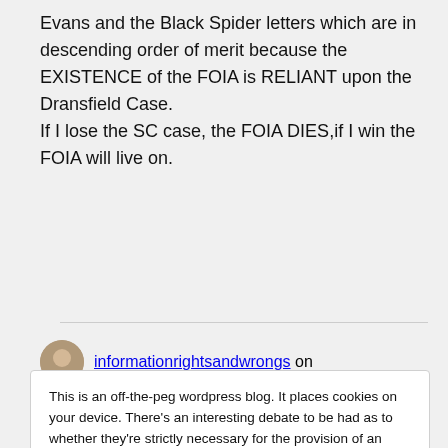Evans and the Black Spider letters which are in descending order of merit because the EXISTENCE of the FOIA is RELIANT upon the Dransfield Case. If I lose the SC case, the FOIA DIES,if I win the FOIA will live on.
informationrightsandwrongs on
This is an off-the-peg wordpress blog. It places cookies on your device. There's an interesting debate to be had as to whether they're strictly necessary for the provision of an information society service requested by the subscriber or user, given that I can't turn them off. Drop me a line if you want that debate - I'll probably agree with you. Here's the rub
Alan M Dransfield on September 4,